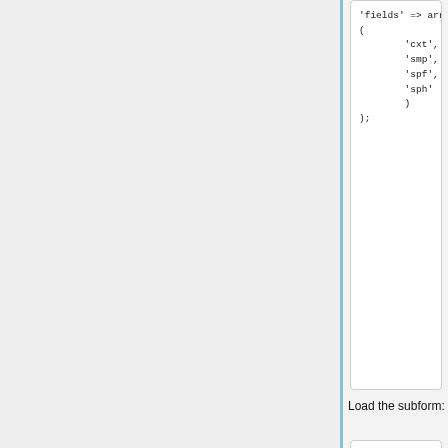'fields' => array
(
        'cxt',
        'smp',
        'spf',
        'sph'
        )
);
Load the subform:
$user_home_left_panel =
     array(
          'col_id' =>
'mvlp',
          'col_alias' =>
FALSE,
          'col_type' =>
'primary_col',
          'subforms' =>
               array(

$ublp_subform_modulo